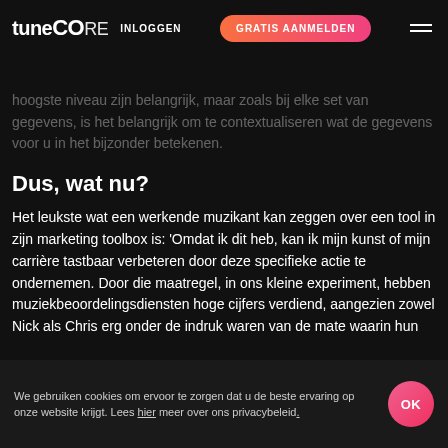tunecore INLOGGEN | GRATIS AANMELDEN
hoogste niveau zijn belangrijk, maar zoals bij elke set van gegevens, is het belangrijk om te contextualiseren wat de gegevens voor u in het bijzonder betekenen.
Dus, wat nu?
Het leukste wat een werkende muzikant kan zeggen over een tool in zijn marketing toolbox is: 'Omdat ik dit heb, kan ik mijn kunst of mijn carrière tastbaar verbeteren door deze specifieke actie te ondernemen. Door die maatregel, in ons kleine experiment, hebben muziekbeoordelingsdiensten hoge cijfers verdiend, aangezien zowel Nick als Chris erg onder de indruk waren van de mate waarin hun
We gebruiken cookies om ervoor te zorgen dat u de beste ervaring op onze website krijgt. Lees hier meer over ons privacybeleid. OK